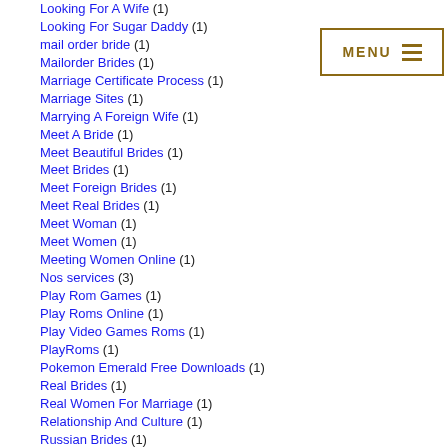Looking For A Wife (1)
Looking For Sugar Daddy (1)
mail order bride (1)
Mailorder Brides (1)
Marriage Certificate Process (1)
Marriage Sites (1)
Marrying A Foreign Wife (1)
Meet A Bride (1)
Meet Beautiful Brides (1)
Meet Brides (1)
Meet Foreign Brides (1)
Meet Real Brides (1)
Meet Woman (1)
Meet Women (1)
Meeting Women Online (1)
Nos services (3)
Play Rom Games (1)
Play Roms Online (1)
Play Video Games Roms (1)
PlayRoms (1)
Pokemon Emerald Free Downloads (1)
Real Brides (1)
Real Women For Marriage (1)
Relationship And Culture (1)
Russian Brides (1)
Russian Women Dating Site (1)